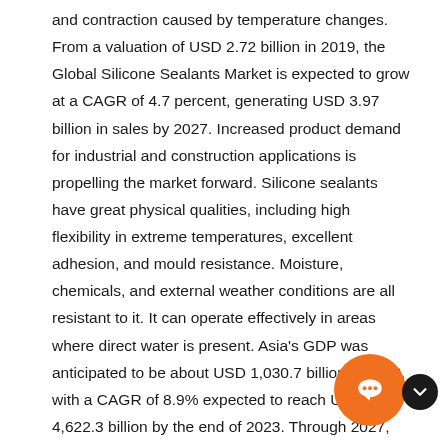and contraction caused by temperature changes. From a valuation of USD 2.72 billion in 2019, the Global Silicone Sealants Market is expected to grow at a CAGR of 4.7 percent, generating USD 3.97 billion in sales by 2027. Increased product demand for industrial and construction applications is propelling the market forward. Silicone sealants have great physical qualities, including high flexibility in extreme temperatures, excellent adhesion, and mould resistance. Moisture, chemicals, and external weather conditions are all resistant to it. It can operate effectively in areas where direct water is present. Asia's GDP was anticipated to be about USD 1,030.7 billion in 2018, with a CAGR of 8.9% expected to reach USD 4,622.3 billion by the end of 2023. Through 2027, rising construction activity in the region as a result of growing urbanization and industrialization may support silicone sealants market trends. The product's various advantages such as its capacity to tolerate extreme heat and cold, insulation,